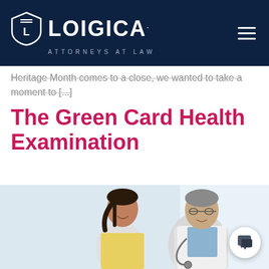[Figure (logo): Loigica Attorneys at Law logo with shield icon on dark navy header background]
Heritage Month comes to a close, we wanted to take a moment to [...]
The Green Card Health Examination
[Figure (photo): A young Asian woman smiling and talking with an older male doctor in a white coat with stethoscope, in a bright medical office setting]